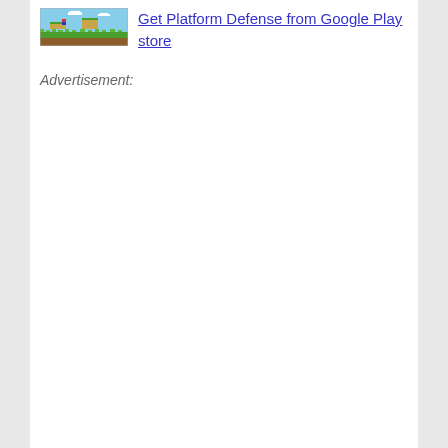[Figure (screenshot): Pixel art game screenshot showing a platform game scene with colorful terrain, grass, and sky]
Get Platform Defense from Google Play store
Advertisement: